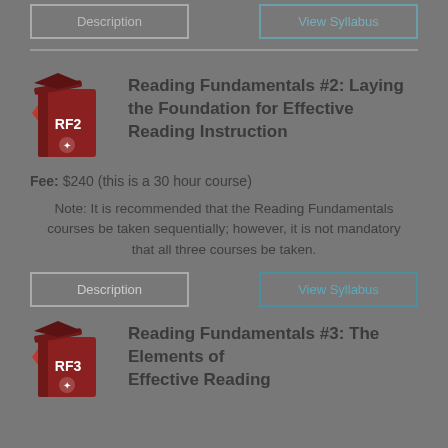[Figure (illustration): Two buttons at top: Description (gray border) and another button (teal border, partially visible/cut off)]
[Figure (logo): Reading Fundamentals RF2 course icon - dark red book with graduation cap]
Reading Fundamentals #2: Laying the Foundation for Effective Reading Instruction
Fee: $240 (this is a 30 hour course)
Note: It is recommended that the Reading Fundamentals courses be taken sequentially; however, it is not mandatory that all three courses be taken.
[Figure (illustration): Two buttons: Description (gray border) and View Syllabus (teal border)]
[Figure (logo): Reading Fundamentals RF3 course icon - dark red book with graduation cap]
Reading Fundamentals #3: The Elements of Effective Reading